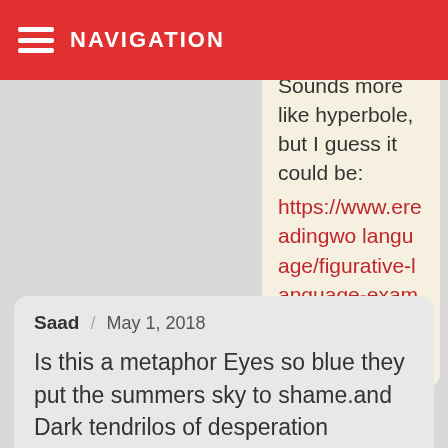NAVIGATION
Sounds more like hyperbole, but I guess it could be: https://www.ereadingwo language/figurative-language-examples/hyperbole-examples/
Saad / May 1, 2018
Is this a metaphor Eyes so blue they put the summers sky to shame.and Dark tendrilos of desperation entangled my mind.Plz reply